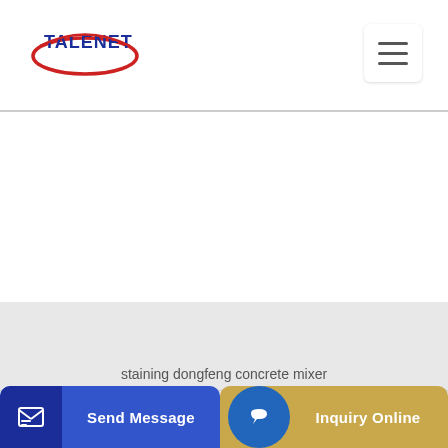[Figure (logo): TALENET company logo with blue text and red curved swoosh]
Related Products
staining dongfeng concrete mixer
Family of Companies Alliance Concrete Pumps
Send Message
Inquiry Online